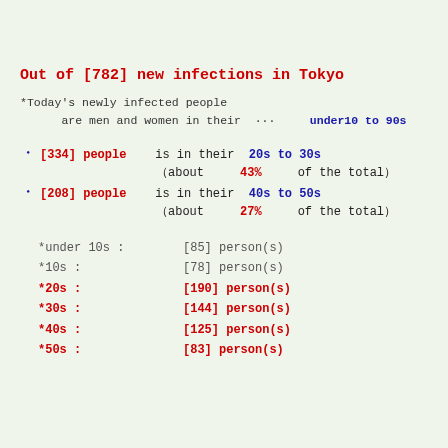Out of [782] new infections in Tokyo
*Today's newly infected people are men and women in their ··· under10 to 90s
[334] people is in their 20s to 30s (about 43% of the total)
[208] people is in their 40s to 50s (about 27% of the total)
*under 10s : [85] person(s)
*10s : [78] person(s)
*20s : [190] person(s)
*30s : [144] person(s)
*40s : [125] person(s)
*50s : [83] person(s)